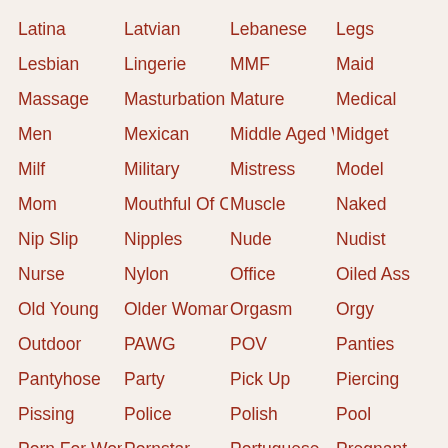Latina
Latvian
Lebanese
Legs
Lesbian
Lingerie
MMF
Maid
Massage
Masturbation
Mature
Medical
Men
Mexican
Middle Aged W
Midget
Milf
Military
Mistress
Model
Mom
Mouthful Of Cu
Muscle
Naked
Nip Slip
Nipples
Nude
Nudist
Nurse
Nylon
Office
Oiled Ass
Old Young
Older Woman
Orgasm
Orgy
Outdoor
PAWG
POV
Panties
Pantyhose
Party
Pick Up
Piercing
Pissing
Police
Polish
Pool
Porn For Wom
Pornstar
Portuguese
Pregnant
Pretty
Public
Public Sex
Pussy
Pussy Licking
Reality
Redhead
Retro
Rimming
Romanian
Romantic
Rough Sex